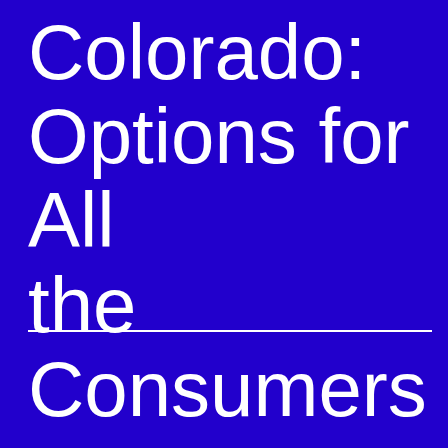Colorado: Options for All the Consumers